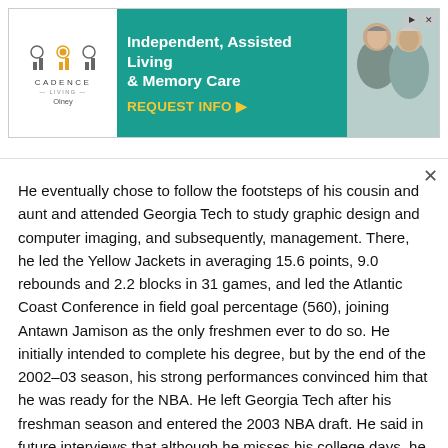[Figure (other): Cadence Living advertisement banner for Independent, Assisted Living & Memory Care in Olney. Teal background with logo, headline text, and photo of elderly people.]
He eventually chose to follow the footsteps of his cousin and aunt and attended Georgia Tech to study graphic design and computer imaging, and subsequently, management. There, he led the Yellow Jackets in averaging 15.6 points, 9.0 rebounds and 2.2 blocks in 31 games, and led the Atlantic Coast Conference in field goal percentage (560), joining Antawn Jamison as the only freshmen ever to do so. He initially intended to complete his degree, but by the end of the 2002–03 season, his strong performances convinced him that he was ready for the NBA. He left Georgia Tech after his freshman season and entered the 2003 NBA draft. He said in future interviews that although he misses his college days, he believes he made the right decision to pursue a professional career. He said he intends to obtain a college degree in the future, to fulfill a promise made to his mother.